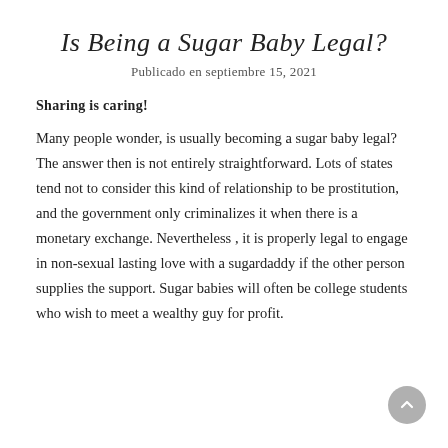Is Being a Sugar Baby Legal?
Publicado en septiembre 15, 2021
Sharing is caring!
Many people wonder, is usually becoming a sugar baby legal? The answer then is not entirely straightforward. Lots of states tend not to consider this kind of relationship to be prostitution, and the government only criminalizes it when there is a monetary exchange. Nevertheless , it is properly legal to engage in non-sexual lasting love with a sugardaddy if the other person supplies the support. Sugar babies will often be college students who wish to meet a wealthy guy for profit.